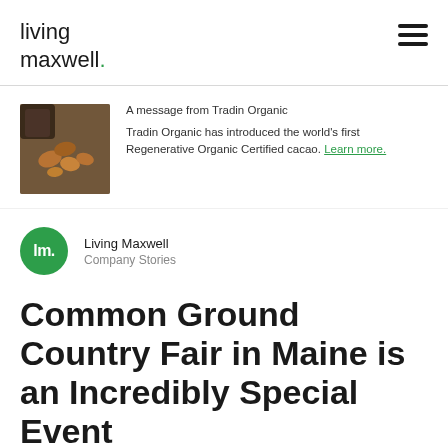living maxwell.
[Figure (photo): Photo of hands holding cacao beans/pods]
A message from Tradin Organic

Tradin Organic has introduced the world's first Regenerative Organic Certified cacao. Learn more.
[Figure (logo): Living Maxwell green circular logo with 'lm.' text]
Living Maxwell
Company Stories
Common Ground Country Fair in Maine is an Incredibly Special Event